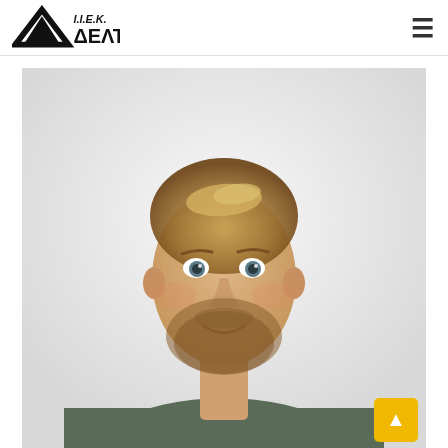I.I.E.K. ΔΕΛΤΑ — navigation header with logo and hamburger menu
[Figure (photo): Portrait photo of a young bearded man with blond hair pulled back, wearing a dark grey ribbed crew-neck sweater, smiling, against a light grey/white background]